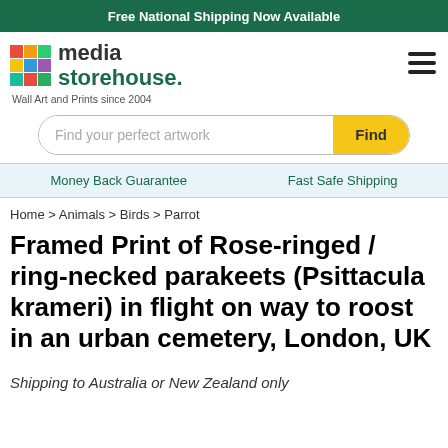Free National Shipping Now Available
[Figure (logo): Media Storehouse logo with colorful grid icon and text 'media storehouse. Wall Art and Prints since 2004']
Find your perfect artwork
Money Back Guarantee   Fast Safe Shipping
Home > Animals > Birds > Parrot
Framed Print of Rose-ringed / ring-necked parakeets (Psittacula krameri) in flight on way to roost in an urban cemetery, London, UK
Shipping to Australia or New Zealand only